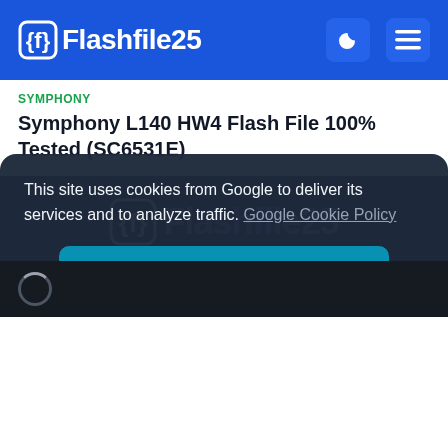Flashfile25
SYMPHONY
Symphony L140 HW4 Flash File 100% Tested (SC6531E)
[Figure (logo): Flashfile25 logo in purple gradient text with white bordered curly-brace icon on dark background]
FlashFile25 is one of the best flash file providers website in Bangladesh. It's collect all of the Stock Firmware ROMs from
This site uses cookies from Google to deliver its services and to analyze traffic. Google Cookie Policy
Accept !